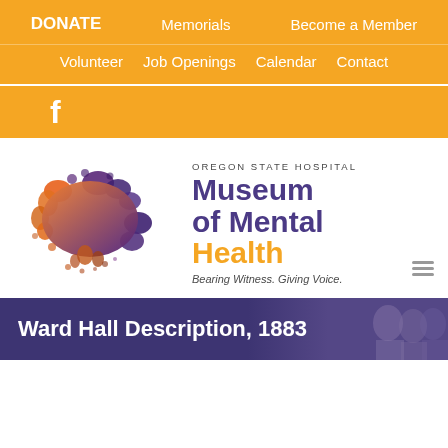DONATE  Memorials  Become a Member  Volunteer  Job Openings  Calendar  Contact
[Figure (logo): Facebook icon in white on orange background]
[Figure (logo): Oregon State Hospital Museum of Mental Health logo with colorful ink blot and text: OREGON STATE HOSPITAL Museum of Mental Health Bearing Witness. Giving Voice.]
Ward Hall Description, 1883